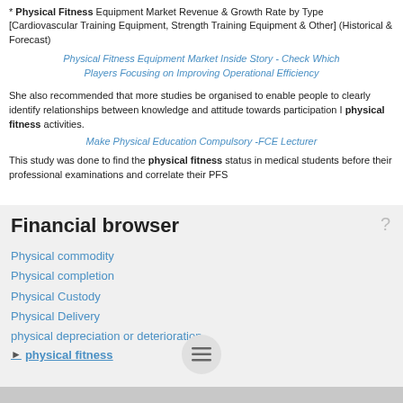* Physical Fitness Equipment Market Revenue & Growth Rate by Type [Cardiovascular Training Equipment, Strength Training Equipment & Other] (Historical & Forecast)
Physical Fitness Equipment Market Inside Story - Check Which Players Focusing on Improving Operational Efficiency
She also recommended that more studies be organised to enable people to clearly identify relationships between knowledge and attitude towards participation I physical fitness activities.
Make Physical Education Compulsory -FCE Lecturer
This study was done to find the physical fitness status in medical students before their professional examinations and correlate their PFS
Financial browser
Physical commodity
Physical completion
Physical Custody
Physical Delivery
physical depreciation or deterioration
physical fitness